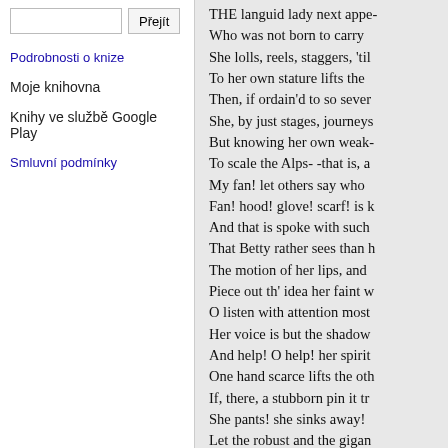Podrobnosti o knize
Moje knihovna
Knihy ve službě Google Play
Smluvní podmínky
THE languid lady next appe-
Who was not born to carry
She lolls, reels, staggers, 'til
To her own stature lifts the
Then, if ordain'd to so sever
She, by just stages, journeys
But knowing her own weak-
To scale the Alps- -that is, a
My fan! let others say who
Fan! hood! glove! scarf! is k
And that is spoke with such
That Betty rather sees than h
The motion of her lips, and
Piece out th' idea her faint w
O listen with attention most
Her voice is but the shadow
And help! O help! her spirit
One hand scarce lifts the oth
If, there, a stubborn pin it tr
She pants! she sinks away!
Let the robust and the gigan
Life is not worth so much, s
But chew she must herself;